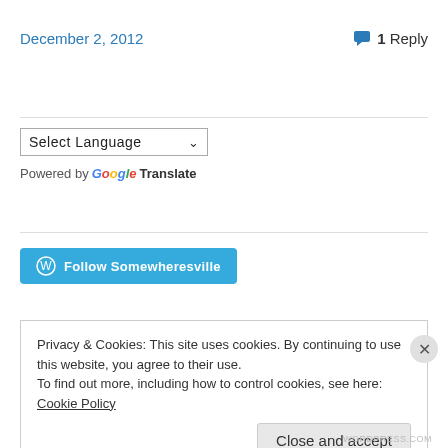December 2, 2012
1 Reply
[Figure (other): Select Language dropdown widget]
Powered by Google Translate
[Figure (other): Follow Somewheresville button with WordPress icon]
Privacy & Cookies: This site uses cookies. By continuing to use this website, you agree to their use.
To find out more, including how to control cookies, see here: Cookie Policy
Close and accept